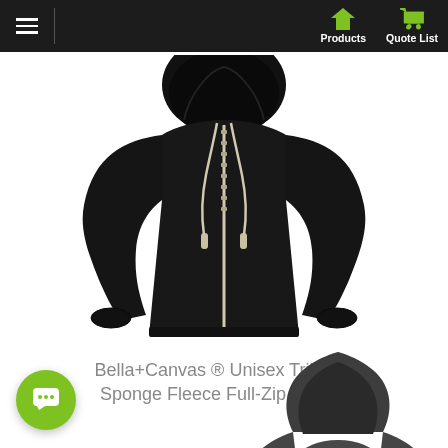Navigation bar with Products and Quote List
[Figure (photo): Black zip-up hoodie with cream/white drawstrings and zipper, displayed on invisible mannequin against white background]
Bella+Canvas ® Unisex Triblend Sponge Fleece Full-Zip Hoodie
[Figure (photo): Dark grey pullover hoodie with hood up, displayed on invisible mannequin against white background]